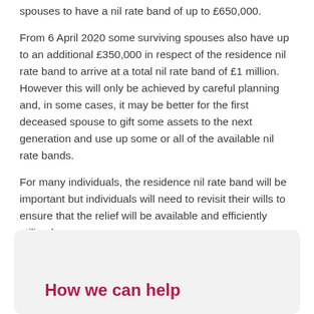spouses to have a nil rate band of up to £650,000.
From 6 April 2020 some surviving spouses also have up to an additional £350,000 in respect of the residence nil rate band to arrive at a total nil rate band of £1 million. However this will only be achieved by careful planning and, in some cases, it may be better for the first deceased spouse to gift some assets to the next generation and use up some or all of the available nil rate bands.
For many individuals, the residence nil rate band will be important but individuals will need to revisit their wills to ensure that the relief will be available and efficiently utilised.
How we can help